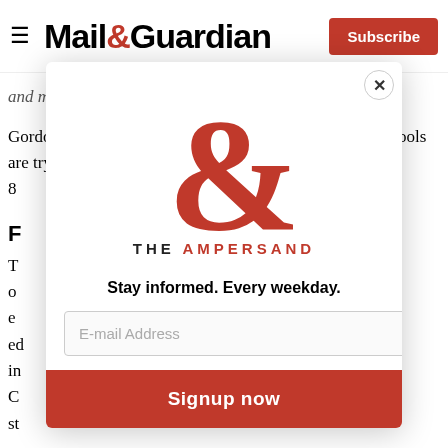Mail&Guardian — Subscribe
and maintaining infrastructure.
Gordon says the tough economic climate means most schools are trying to keep the increase as low as possible, with most settling on increases of between 6% and 8%.
F
T o e ed in st C st
[Figure (logo): The Ampersand newsletter logo — large red decorative ampersand with 'THE AMPERSAND' text below it]
Stay informed. Every weekday.
E-mail Address
Signup now